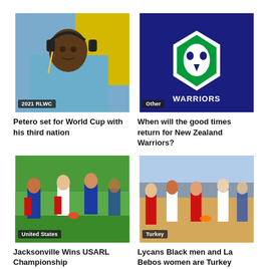[Figure (photo): Man wearing headphones at 2021 Rugby League World Cup]
[Figure (photo): New Zealand Warriors logo on dark blue background]
Petero set for World Cup with his third nation
When will the good times return for New Zealand Warriors?
[Figure (photo): Rugby league players in action during United States match]
[Figure (photo): Players running on beach during Turkey beach rugby]
Jacksonville Wins USARL Championship
Lycans Black men and La Bebos women are Turkey beach rugby...